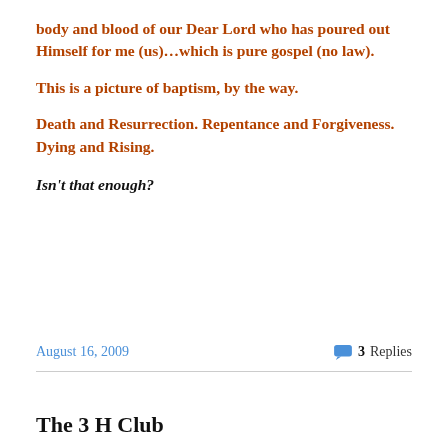body and blood of our Dear Lord who has poured out Himself for me (us)…which is pure gospel (no law).
This is a picture of baptism, by the way.
Death and Resurrection.  Repentance and Forgiveness.  Dying and Rising.
Isn't that enough?
August 16, 2009   3 Replies
The 3 H Club